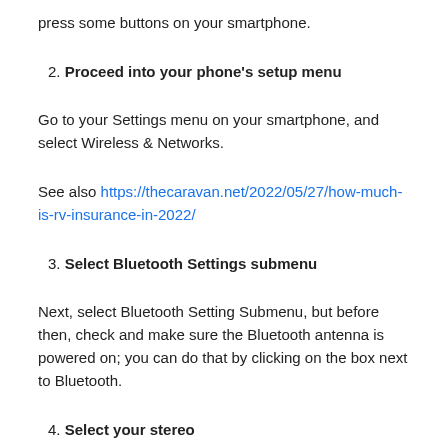press some buttons on your smartphone.
2. Proceed into your phone's setup menu
Go to your Settings menu on your smartphone, and select Wireless & Networks.
See also https://thecaravan.net/2022/05/27/how-much-is-rv-insurance-in-2022/
3. Select Bluetooth Settings submenu
Next, select Bluetooth Setting Submenu, but before then, check and make sure the Bluetooth antenna is powered on; you can do that by clicking on the box next to Bluetooth.
4. Select your stereo
Next, you'll find a list of available Bluetooth devices displayed on your